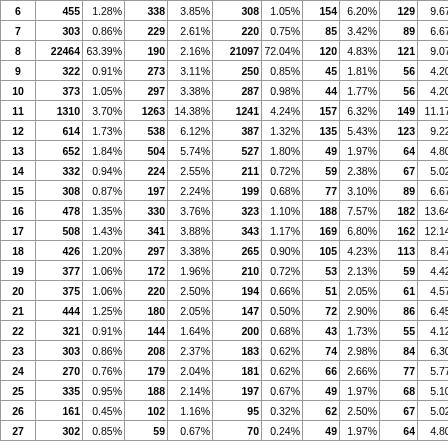| 6 | 455 | 1.28% | 338 | 3.85% | 308 | 1.05% | 154 | 6.20% | 129 | 9.67% | 4 |
| 7 | 303 | 0.86% | 229 | 2.61% | 220 | 0.75% | 85 | 3.42% | 89 | 6.67% | 3 |
| 8 | 22464 | 63.39% | 190 | 2.16% | 21097 | 72.04% | 120 | 4.83% | 121 | 9.07% | 3 |
| 9 | 322 | 0.91% | 273 | 3.11% | 250 | 0.85% | 45 | 1.81% | 56 | 4.20% | 2 |
| 10 | 373 | 1.05% | 297 | 3.38% | 287 | 0.98% | 44 | 1.77% | 56 | 4.20% | 1 |
| 11 | 1310 | 3.70% | 1263 | 14.38% | 1241 | 4.24% | 157 | 6.32% | 149 | 11.17% | 3 |
| 12 | 614 | 1.73% | 538 | 6.12% | 387 | 1.32% | 135 | 5.43% | 123 | 9.22% | 4 |
| 13 | 652 | 1.84% | 504 | 5.74% | 527 | 1.80% | 49 | 1.97% | 64 | 4.80% | 2 |
| 14 | 332 | 0.94% | 224 | 2.55% | 211 | 0.72% | 59 | 2.38% | 67 | 5.02% | 3 |
| 15 | 308 | 0.87% | 197 | 2.24% | 199 | 0.68% | 77 | 3.10% | 89 | 6.67% | 2 |
| 16 | 478 | 1.35% | 330 | 3.76% | 323 | 1.10% | 188 | 7.57% | 182 | 13.64% | 2 |
| 17 | 508 | 1.43% | 341 | 3.88% | 343 | 1.17% | 169 | 6.80% | 162 | 12.14% | 2 |
| 18 | 426 | 1.20% | 297 | 3.38% | 265 | 0.90% | 105 | 4.23% | 113 | 8.47% | 1 |
| 19 | 377 | 1.06% | 172 | 1.96% | 210 | 0.72% | 53 | 2.13% | 59 | 4.42% |  |
| 20 | 375 | 1.06% | 220 | 2.50% | 194 | 0.66% | 51 | 2.05% | 61 | 4.57% | 3 |
| 21 | 444 | 1.25% | 180 | 2.05% | 147 | 0.50% | 72 | 2.90% | 86 | 6.45% | 4 |
| 22 | 321 | 0.91% | 144 | 1.64% | 200 | 0.68% | 43 | 1.73% | 55 | 4.12% |  |
| 23 | 303 | 0.86% | 208 | 2.37% | 183 | 0.62% | 74 | 2.98% | 84 | 6.30% | 1 |
| 24 | 270 | 0.76% | 179 | 2.04% | 181 | 0.62% | 66 | 2.66% | 77 | 5.77% |  |
| 25 | 335 | 0.95% | 188 | 2.14% | 197 | 0.67% | 49 | 1.97% | 68 | 5.10% |  |
| 26 | 161 | 0.45% | 102 | 1.16% | 95 | 0.32% | 62 | 2.50% | 67 | 5.02% |  |
| 27 | 302 | 0.85% | 59 | 0.67% | 70 | 0.24% | 49 | 1.97% | 64 | 4.80% |  |